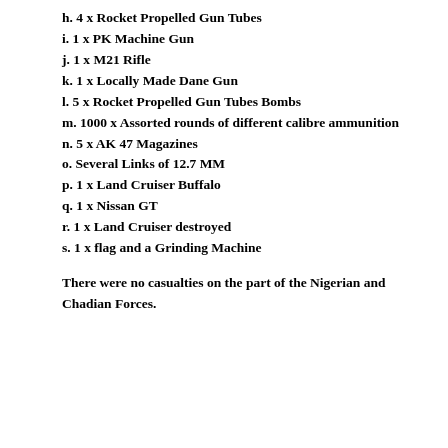h. 4 x Rocket Propelled Gun Tubes
i. 1 x PK Machine Gun
j. 1 x M21 Rifle
k. 1 x Locally Made Dane Gun
l. 5 x Rocket Propelled Gun Tubes Bombs
m. 1000 x Assorted rounds of different calibre ammunition
n. 5 x AK 47 Magazines
o. Several Links of 12.7 MM
p. 1 x Land Cruiser Buffalo
q. 1 x Nissan GT
r. 1 x Land Cruiser destroyed
s. 1 x flag and a Grinding Machine
There were no casualties on the part of the Nigerian and Chadian Forces.